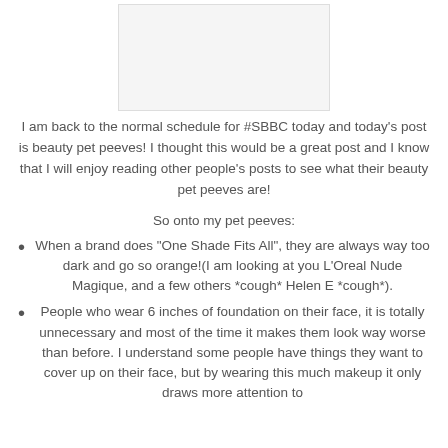[Figure (photo): A white/blank image placeholder at the top center of the page]
I am back to the normal schedule for #SBBC today and today's post is beauty pet peeves! I thought this would be a great post and I know that I will enjoy reading other people's posts to see what their beauty pet peeves are!
So onto my pet peeves:
When a brand does "One Shade Fits All", they are always way too dark and go so orange!(I am looking at you L'Oreal Nude Magique, and a few others *cough* Helen E *cough*).
People who wear 6 inches of foundation on their face, it is totally unnecessary and most of the time it makes them look way worse than before. I understand some people have things they want to cover up on their face, but by wearing this much makeup it only draws more attention to